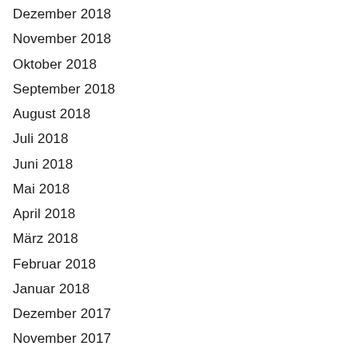Dezember 2018
November 2018
Oktober 2018
September 2018
August 2018
Juli 2018
Juni 2018
Mai 2018
April 2018
März 2018
Februar 2018
Januar 2018
Dezember 2017
November 2017